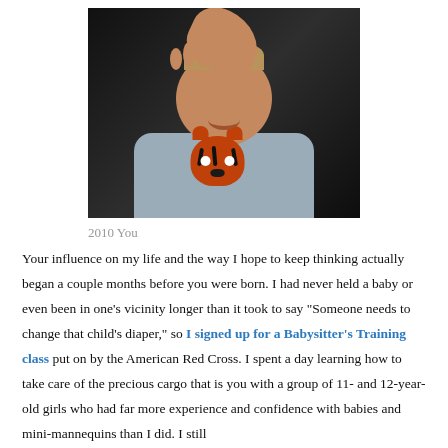[Figure (photo): Photo of a smiling baby/toddler wearing a gray shirt with a tiger face graphic, raising one hand up near their face, against a dark background]
2010 You
Your influence on my life and the way I hope to keep thinking actually began a couple months before you were born. I had never held a baby or even been in one's vicinity longer than it took to say “Someone needs to change that child’s diaper,” so I signed up for a Babysitter’s Training class put on by the American Red Cross. I spent a day learning how to take care of the precious cargo that is you with a group of 11- and 12-year-old girls who had far more experience and confidence with babies and mini-mannequins than I did. I still